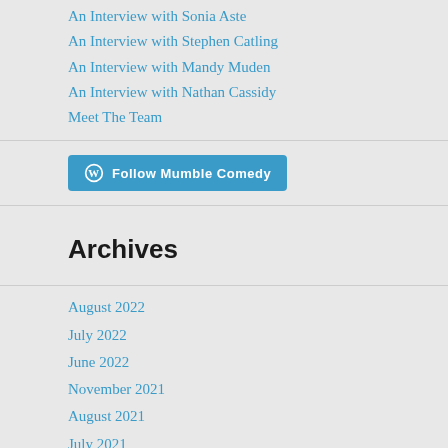An Interview with Sonia Aste
An Interview with Stephen Catling
An Interview with Mandy Muden
An Interview with Nathan Cassidy
Meet The Team
[Figure (other): Follow Mumble Comedy WordPress follow button]
Archives
August 2022
July 2022
June 2022
November 2021
August 2021
July 2021
June 2020